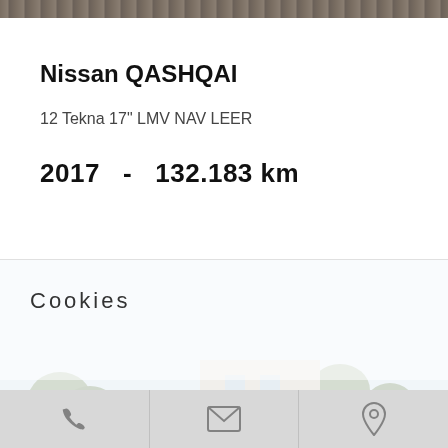[Figure (photo): Top strip showing cobblestone/pavement texture photo]
Nissan QASHQAI
12 Tekna 17" LMV NAV LEER
2017   -   132.183 km
[Figure (photo): Background photo of cars on a dealership lot, partially obscured by semi-transparent cookie consent overlay]
Cookies
Onze pagina's maken gebruik van functionele & analytische cookies. Door te klikken op "Akkoord" ga je akkoord met ons gebruik van cookies. Voor een uitgebreide uitleg klik op:  Lees meer
AKKOORD
Phone | Email | Location icons